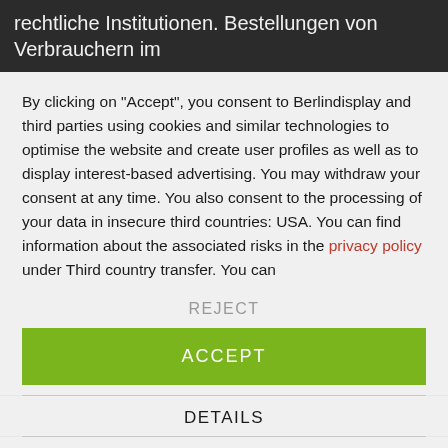rechtliche Institutionen. Bestellungen von Verbrauchern im
By clicking on "Accept", you consent to Berlindisplay and third parties using cookies and similar technologies to optimise the website and create user profiles as well as to display interest-based advertising. You may withdraw your consent at any time. You also consent to the processing of your data in insecure third countries: USA. You can find information about the associated risks in the privacy policy under Third country transfer. You can
REJECT
ACCEPT
DETAILS
[Figure (logo): Fingerprint icon in dark circle, usercentrics logo, and Trusted Shops logo with text 'Powered by usercentrics & TRUSTED SHOPS']